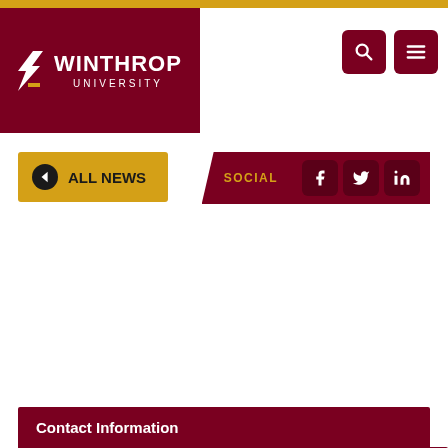Winthrop University
ALL NEWS
SOCIAL
Related Links
Dean's List
President's List
Graduates' List
The Johnsonian
Winthrop Poll
Winthrop NSSE Results
Contact Information